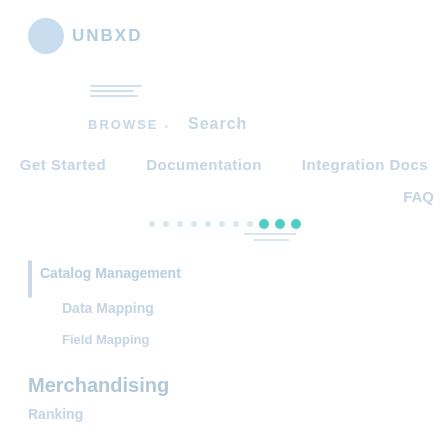[Figure (logo): Unbxd logo: teal/blue circle icon with UNBXD text in light blue]
BROWSE   Search
[Figure (screenshot): Navigation submenu lines under BROWSE]
Get Started   Documentation   Integration Docs
FAQ
[Figure (infographic): Dots breadcrumb/progress indicator with teal filled dots on the right]
Catalog Management
Data Mapping
Field Mapping
Merchandising
Ranking